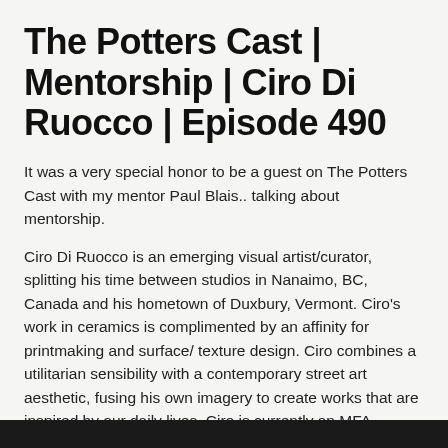The Potters Cast | Mentorship | Ciro Di Ruocco | Episode 490
It was a very special honor to be a guest on The Potters Cast with my mentor Paul Blais.. talking about mentorship.
Ciro Di Ruocco is an emerging visual artist/curator, splitting his time between studios in Nanaimo, BC, Canada and his hometown of Duxbury, Vermont. Ciro's work in ceramics is complimented by an affinity for printmaking and surface/ texture design. Ciro combines a utilitarian sensibility with a contemporary street art aesthetic, fusing his own imagery to create works that are inspired by our daily lives. Ciro is currently an MFA candidate at the Vermont College of Fine Arts.
[Figure (photo): Dark image strip at the bottom of the page, partially visible]